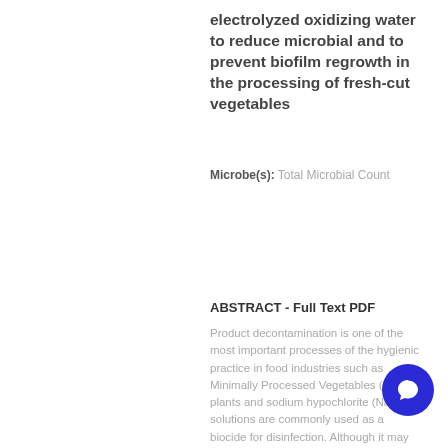electrolyzed oxidizing water to reduce microbial and to prevent biofilm regrowth in the processing of fresh-cut vegetables
Microbe(s): Total Microbial Count
ABSTRACT - Full Text PDF
Product decontamination is one of the most important processes of the hygienic practice in food industries such as Minimally Processed Vegetables (MPV) plants and sodium hypochlorite (NaOCl) solutions are commonly used as a biocide for disinfection. Although it may be corrosive and irritating when compared to , reducing the free chlorine concentration needed to sanitize salads, also decreasing water consumption